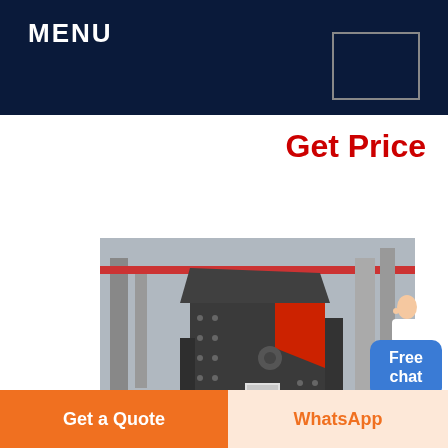MENU
Get Price
[Figure (photo): Large industrial impact crusher / hammer mill machine displayed on a circular platform with white gravel, inside a factory/warehouse with yellow and black hazard striped floor border. Machine is dark grey/black with red interior panels.]
Scraper Winches | Rock Drills
Get a Quote
WhatsApp